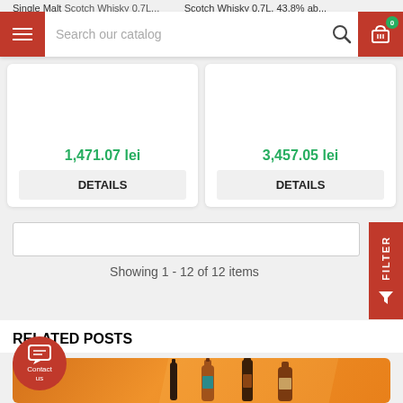Single Malt Scotch Whisky 0.7L... Scotch Whisky 0.7L, 43.8% ab...
[Figure (screenshot): Navigation bar with hamburger menu, search bar reading 'Search our catalog', search icon, and red shopping cart icon with badge showing 0]
1,471.07 lei
DETAILS
3,457.05 lei
DETAILS
Showing 1 - 12 of 12 items
RELATED POSTS
[Figure (photo): Orange promotional banner with whisky bottle silhouettes including bottles with teal and brown labels on an orange gradient background]
[Figure (other): Contact us floating button - red circle with chat icon and text 'Contact us']